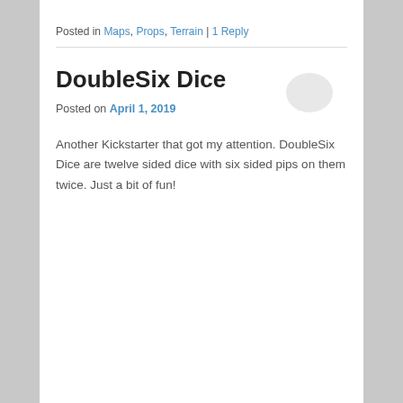Posted in Maps, Props, Terrain | 1 Reply
DoubleSix Dice
Posted on April 1, 2019
[Figure (illustration): Speech bubble / comment icon in light gray]
Another Kickstarter that got my attention. DoubleSix Dice are twelve sided dice with six sided pips on them twice. Just a bit of fun!